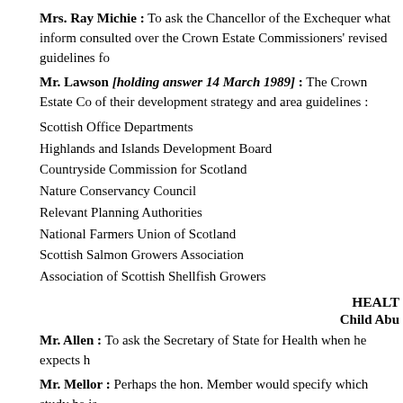Mrs. Ray Michie : To ask the Chancellor of the Exchequer what information consulted over the Crown Estate Commissioners' revised guidelines fo
Mr. Lawson [holding answer 14 March 1989] : The Crown Estate Co of their development strategy and area guidelines :
Scottish Office Departments
Highlands and Islands Development Board
Countryside Commission for Scotland
Nature Conservancy Council
Relevant Planning Authorities
National Farmers Union of Scotland
Scottish Salmon Growers Association
Association of Scottish Shellfish Growers
HEALT
Child Abu
Mr. Allen : To ask the Secretary of State for Health when he expects h
Mr. Mellor : Perhaps the hon. Member would specify which study he is
Working for D